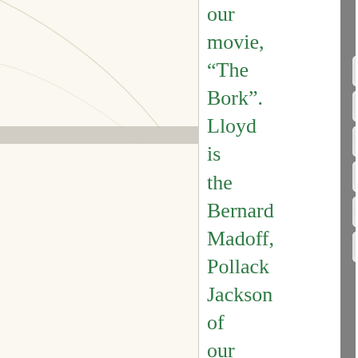[Figure (illustration): Left panel showing a film strip with sprocket holes and labels 'LIEBMAN', 'TROMA', 'LLOYD KAUFMAN' on a cream/off-white background with faint Fibonacci spiral decorative lines and a horizontal gray bar near the top.]
our movie, “The Bork”. Lloyd is the Bernard Madoff, Pollack Jackson of our generation. Kudos on the Toxie remake